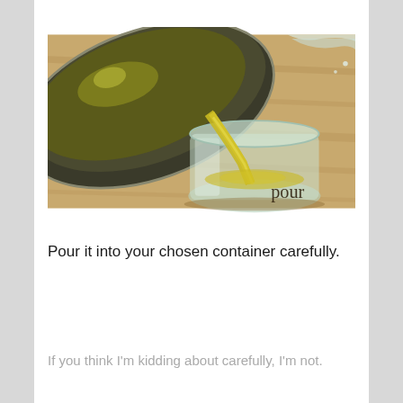[Figure (photo): Close-up photograph of golden-green olive oil being poured from a metal pan/pot into a glass jar, placed on a wooden surface. The word 'pour' appears in dark text at the bottom right of the image.]
Pour it into your chosen container carefully.
If you think I'm kidding about carefully, I'm not.